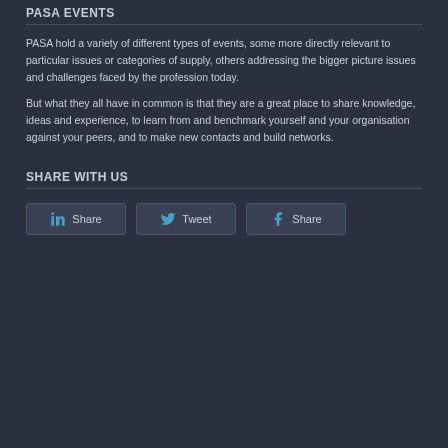PASA EVENTS
PASA hold a variety of different types of events, some more directly relevant to particular issues or categories of supply, others addressing the bigger picture issues and challenges faced by the profession today.

But what they all have in common is that they are a great place to share knowledge, ideas and experience, to learn from and benchmark yourself and your organisation against your peers, and to make new contacts and build networks.
SHARE WITH US
[Figure (other): Social share buttons: LinkedIn Share, Twitter Tweet, Facebook Share]